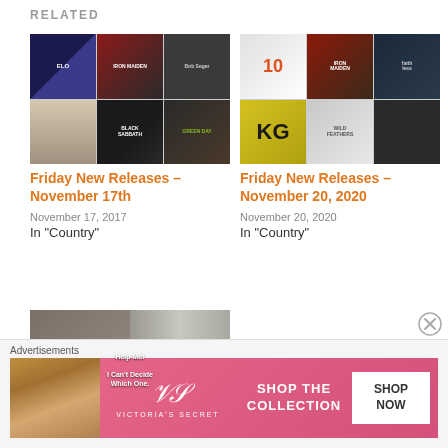RELATED
[Figure (photo): Collage of album covers including ELO, Iron Maiden, Bob Seger, Black Sabbath, Green Day]
Friday New Releases – November 17th
November 17, 2017
In "Country"
[Figure (photo): Collage of album covers including a 10th anniversary splash, Iron Maiden, KG, Wild Feathers]
Friday New Releases – November 20, 2020
November 20, 2020
In "Country"
[Figure (photo): Vinyl record store shelves with text Help Me! I Can't Decide Which One.]
You Pick It! – Which
Advertisements
[Figure (photo): Victoria's Secret advertisement banner: Shop The Collection, Shop Now]